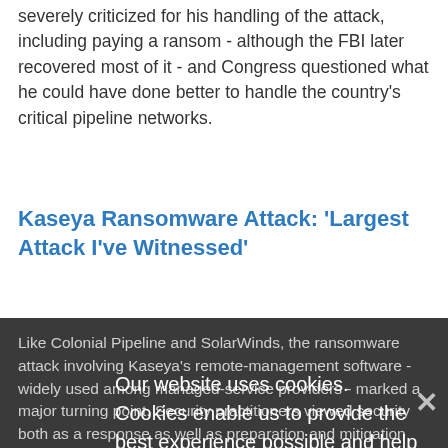severely criticized for his handling of the attack, including paying a ransom - although the FBI later recovered most of it - and Congress questioned what he could have done better to handle the country's critical pipeline networks.
Kaseya Ransomware Attack: 'Largest Attack I've Witnessed'
Like Colonial Pipeline and SolarWinds, the ransomware attack involving Kaseya's remote-management software - widely used among managed-service providers - marked a major turning point. Security practitioners viewed security both as a response as well as preparation and mitigation strategies. Mark Loman of Sophos said the incident, involving attackers using Kaseya's software to directly push ransomware onto systems managed by MSPs, was the largest such attack he had ever witnessed. Thousands of organizations worldwide were reportedly affected
Our website uses cookies. Cookies enable us to provide the best experience possible and help us understand how visitors use our website. By browsing databreachtoday.com, you agree to our use of cookies.